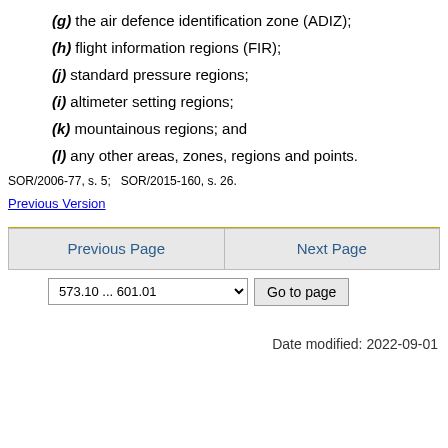(g) the air defence identification zone (ADIZ);
(h) flight information regions (FIR);
(j) standard pressure regions;
(i) altimeter setting regions;
(k) mountainous regions; and
(l) any other areas, zones, regions and points.
SOR/2006-77, s. 5;   SOR/2015-160, s. 26.
Previous Version
Previous Page | Next Page
573.10 ... 601.01  Go to page
Date modified: 2022-09-01